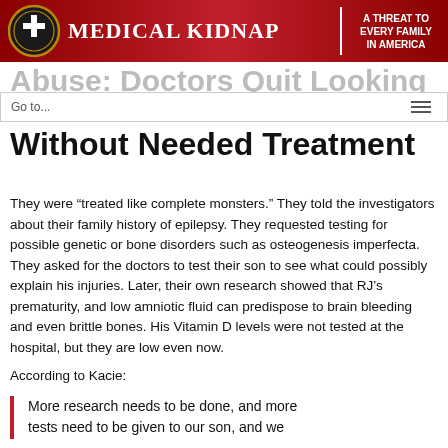MEDICAL KIDNAP | A THREAT TO EVERY FAMILY IN AMERICA
Without Needed Treatment
They were “treated like complete monsters.” They told the investigators about their family history of epilepsy. They requested testing for possible genetic or bone disorders such as osteogenesis imperfecta. They asked for the doctors to test their son to see what could possibly explain his injuries. Later, their own research showed that RJ’s prematurity, and low amniotic fluid can predispose to brain bleeding and even brittle bones. His Vitamin D levels were not tested at the hospital, but they are low even now.
According to Kacie:
More research needs to be done, and more tests need to be given to our son, and we